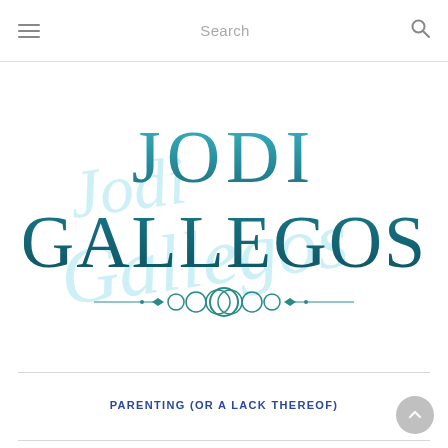Search
[Figure (logo): Jodi Gallegos blog logo with teal serif text 'JODI GALLEGOS' overlaid on a light blue cursive script watermark of 'Jodi Gallegos', with decorative ornamental divider below]
PARENTING (OR A LACK THEREOF)